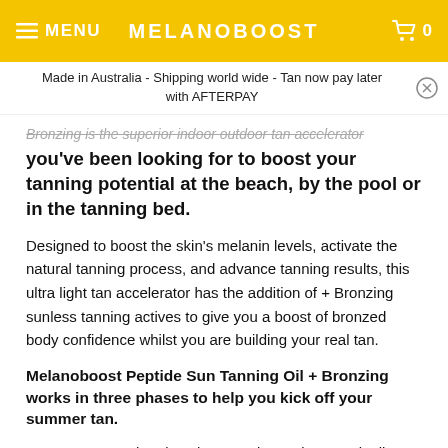MENU | MELANOBOOST | 0
Made in Australia - Shipping world wide - Tan now pay later with AFTERPAY
Bronzing is the superior indoor outdoor tan accelerator you've been looking for to boost your tanning potential at the beach, by the pool or in the tanning bed.
Designed to boost the skin's melanin levels, activate the natural tanning process, and advance tanning results, this ultra light tan accelerator has the addition of + Bronzing sunless tanning actives to give you a boost of bronzed body confidence whilst you are building your real tan.
Melanoboost Peptide Sun Tanning Oil + Bronzing works in three phases to help you kick off your summer tan.
PHASE 1: Non-tinted sunless tanning actives gradually develop into a temporary sunless tan in the lead up to UV exposure.